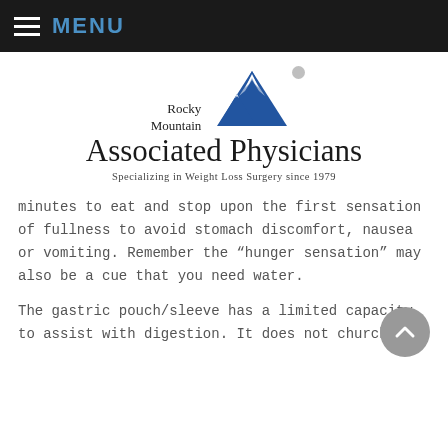MENU
[Figure (logo): Rocky Mountain Associated Physicians logo with mountain graphic. Tagline: Specializing in Weight Loss Surgery since 1979]
minutes to eat and stop upon the first sensation of fullness to avoid stomach discomfort, nausea or vomiting. Remember the “hunger sensation” may also be a cue that you need water.
The gastric pouch/sleeve has a limited capacity to assist with digestion. It does not church and